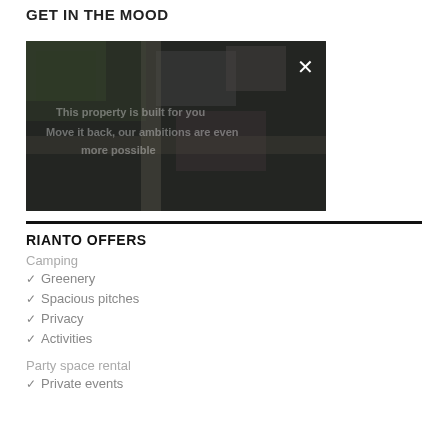GET IN THE MOOD
[Figure (screenshot): Video thumbnail showing aerial view of property with overlaid text, with an X close button in top right corner]
RIANTO OFFERS
Camping
Greenery
Spacious pitches
Privacy
Activities
Party space rental
Private events